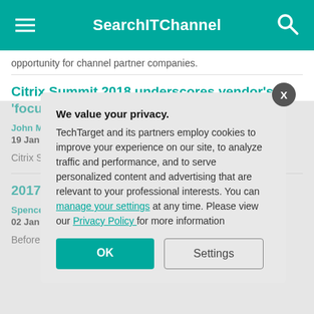SearchITChannel
opportunity for channel partner companies.
Citrix Summit 2018 underscores vendor's 'focused innovation'
John Moore - Industry Editor
19 Jan 2018
Citrix Summit continuing its technology st...
2017 in rev... industry tre...
Spencer Smith -
02 Jan 2018
Before embar industry trend moment to re struck a chor...
We value your privacy.
TechTarget and its partners employ cookies to improve your experience on our site, to analyze traffic and performance, and to serve personalized content and advertising that are relevant to your professional interests. You can manage your settings at any time. Please view our Privacy Policy for more information